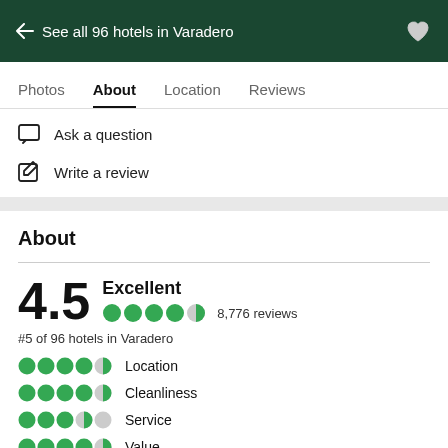← See all 96 hotels in Varadero
Photos
About
Location
Reviews
Ask a question
Write a review
About
4.5 Excellent 8,776 reviews
#5 of 96 hotels in Varadero
Location
Cleanliness
Service
Value